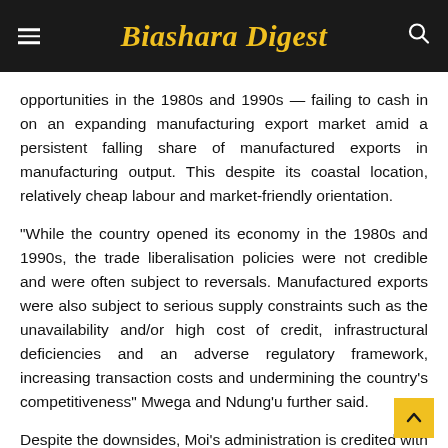Biashara Digest
opportunities in the 1980s and 1990s — failing to cash in on an expanding manufacturing export market amid a persistent falling share of manufactured exports in manufacturing output. This despite its coastal location, relatively cheap labour and market-friendly orientation.
“While the country opened its economy in the 1980s and 1990s, the trade liberalisation policies were not credible and were often subject to reversals. Manufactured exports were also subject to serious supply constraints such as the unavailability and/or high cost of credit, infrastructural deficiencies and an adverse regulatory framework, increasing transaction costs and undermining the country’s competitiveness” Mwega and Ndung’u further said.
Despite the downsides, Moi’s administration is credited with